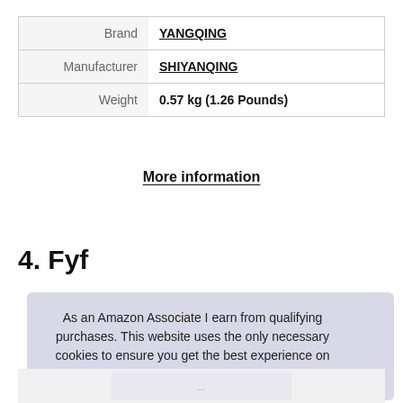|  |  |
| --- | --- |
| Brand | YANGQING |
| Manufacturer | SHIYANQING |
| Weight | 0.57 kg (1.26 Pounds) |
More information
4. Fyf
As an Amazon Associate I earn from qualifying purchases. This website uses the only necessary cookies to ensure you get the best experience on our website. More information
[Figure (photo): Partial product image visible at the bottom of the page]